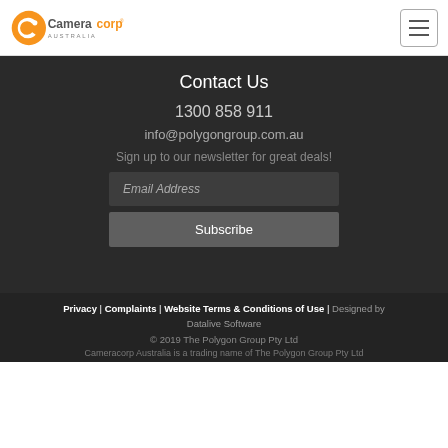Cameracorp Australia [logo] [hamburger menu]
Contact Us
1300 858 911
info@polygongroup.com.au
Sign up to our newsletter for great deals!
Email Address
Subscribe
Privacy | Complaints | Website Terms & Conditions of Use | Designed by Datalive Software
© 2019 The Polygon Group Pty Ltd
Cameracorp Australia is a trading name of The Polygon Group Pty Ltd